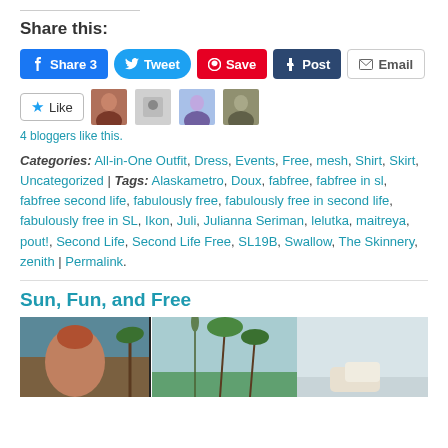Share this:
Share 3 | Tweet | Save | Post | Email
Like | 4 bloggers like this.
Categories: All-in-One Outfit, Dress, Events, Free, mesh, Shirt, Skirt, Uncategorized | Tags: Alaskametro, Doux, fabfree, fabfree in sl, fabfree second life, fabulously free, fabulously free in second life, fabulously free in SL, Ikon, Juli, Julianna Seriman, lelutka, maitreya, pout!, Second Life, Second Life Free, SL19B, Swallow, The Skinnery, zenith | Permalink.
Sun, Fun, and Free
[Figure (photo): Three-panel photo strip showing Second Life virtual world scenes with tropical setting]